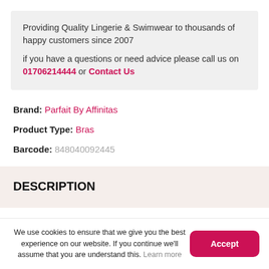Providing Quality Lingerie & Swimwear to thousands of happy customers since 2007
if you have a questions or need advice please call us on 01706214444 or Contact Us
Brand: Parfait By Affinitas
Product Type: Bras
Barcode: 848040092445
DESCRIPTION
We use cookies to ensure that we give you the best experience on our website. If you continue we'll assume that you are understand this. Learn more